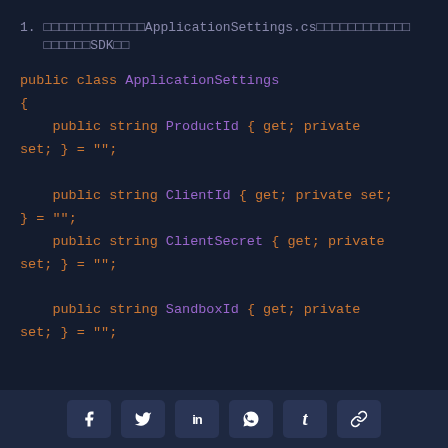1. □□□□□□□□□□□□□ApplicationSettings.cs□□□□□□□□□□□□ □□□□□□SDK□□
public class ApplicationSettings
{
    public string ProductId { get; private set; } = "";

    public string ClientId { get; private set; } = "";
    public string ClientSecret { get; private set; } = "";

    public string SandboxId { get; private set; } = "";
f  y  in  reddit  t  link